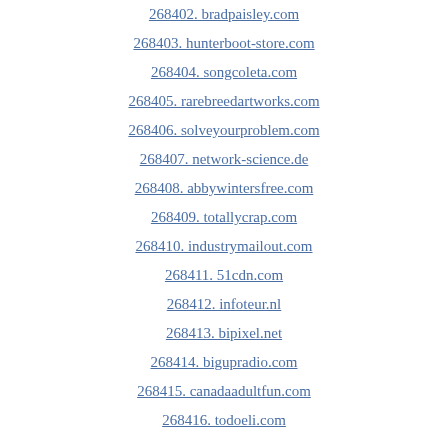268402. bradpaisley.com
268403. hunterboot-store.com
268404. songcoleta.com
268405. rarebreedartworks.com
268406. solveyourproblem.com
268407. network-science.de
268408. abbywintersfree.com
268409. totallycrap.com
268410. industrymailout.com
268411. 51cdn.com
268412. infoteur.nl
268413. bipixel.net
268414. bigupradio.com
268415. canadaadultfun.com
268416. todoeli.com